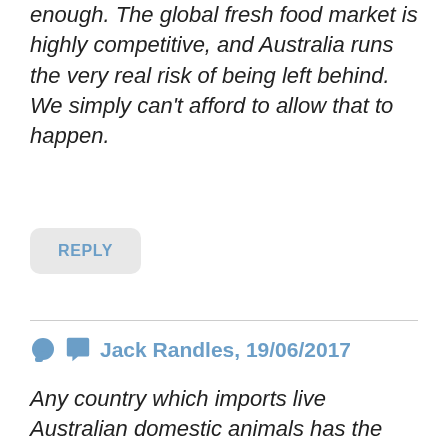enough. The global fresh food market is highly competitive, and Australia runs the very real risk of being left behind. We simply can't afford to allow that to happen.
REPLY
Jack Randles, 19/06/2017
Any country which imports live Australian domestic animals has the right to process those animals in their own country & present the processed meat as originating in Australia but packed & processed in their country. You see this package description everyday in Australian supermarkets. Its quite a simple step to downsize the country of origin & emphasise the country of process & pack , & I have no doubt this process is being carried out overseas now as we